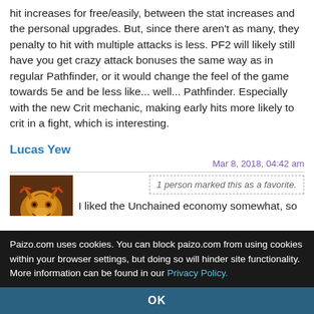hit increases for free/easily, between the stat increases and the personal upgrades. But, since there aren't as many, they penalty to hit with multiple attacks is less. PF2 will likely still have you get crazy attack bonuses the same way as in regular Pathfinder, or it would change the feel of the game towards 5e and be less like... well... Pathfinder. Especially with the new Crit mechanic, making early hits more likely to crit in a fight, which is interesting.
Lucas Yew
Mar 8, 2018, 04:42 am
1 person marked this as a favorite.
[Figure (illustration): Dragon avatar image, gold/red colored dragon head]
I liked the Unchained economy somewhat, so I'm mostly OK
Paizo.com uses cookies. You can block paizo.com from using cookies within your browser settings, but doing so will hinder site functionality. More information can be found in our Privacy Policy.
OK